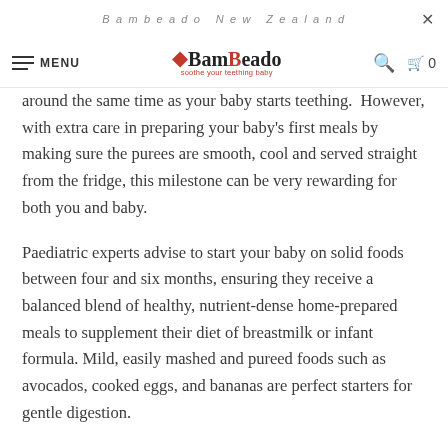Bambeado New Zealand
[Figure (logo): Bambeado logo with tagline 'soothe your teething baby']
around the same time as your baby starts teething.  However, with extra care in preparing your baby's first meals by making sure the purees are smooth, cool and served straight from the fridge, this milestone can be very rewarding for both you and baby.
Paediatric experts advise to start your baby on solid foods between four and six months, ensuring they receive a balanced blend of healthy, nutrient-dense home-prepared meals to supplement their diet of breastmilk or infant formula. Mild, easily mashed and pureed foods such as avocados, cooked eggs, and bananas are perfect starters for gentle digestion.